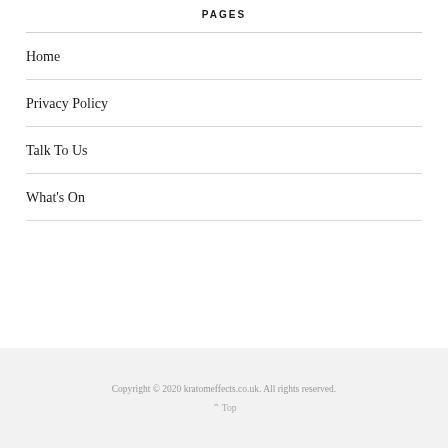PAGES
Home
Privacy Policy
Talk To Us
What's On
Copyright © 2020 kratomeffects.co.uk. All rights reserved.
^ Top